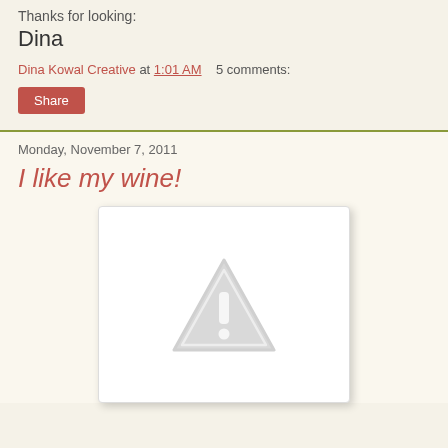Thanks for looking:
Dina
Dina Kowal Creative at 1:01 AM    5 comments:
Share
Monday, November 7, 2011
I like my wine!
[Figure (illustration): Broken/missing image placeholder showing a grey triangle with exclamation mark warning icon on a white background with drop shadow border]